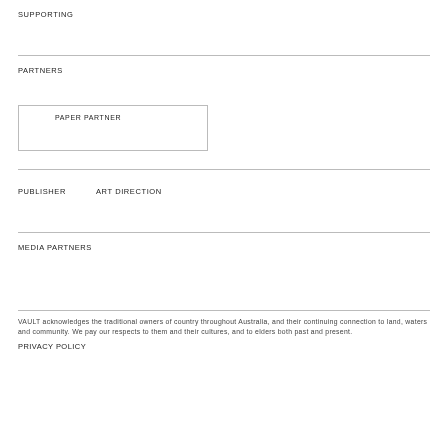SUPPORTING
PARTNERS
PAPER PARTNER
PUBLISHER    ART DIRECTION
MEDIA PARTNERS
VAULT acknowledges the traditional owners of country throughout Australia, and their continuing connection to land, waters and community. We pay our respects to them and their cultures, and to elders both past and present.
PRIVACY POLICY